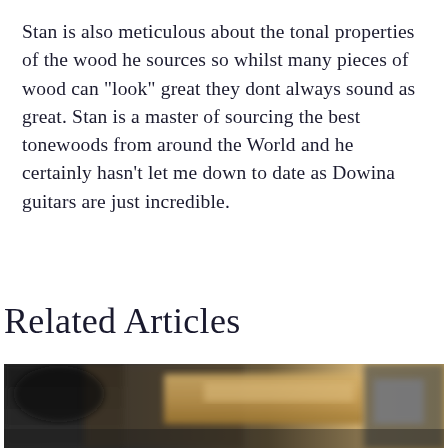Stan is also meticulous about the tonal properties of the wood he sources so whilst many pieces of wood can "look" great they dont always sound as great. Stan is a master of sourcing the best tonewoods from around the World and he certainly hasn't let me down to date as Dowina guitars are just incredible.
Related Articles
[Figure (photo): A blurred photograph showing what appears to be wooden guitar parts or tonewoods, with dark background and light wood tones visible.]